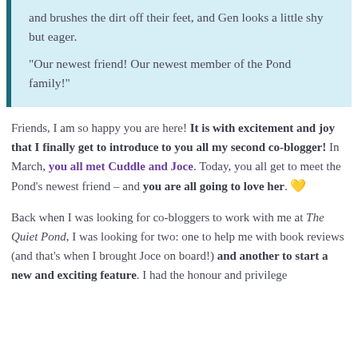and brushes the dirt off their feet, and Gen looks a little shy but eager.

"Our newest friend! Our newest member of the Pond family!"
Friends, I am so happy you are here! It is with excitement and joy that I finally get to introduce to you all my second co-blogger! In March, you all met Cuddle and Joce. Today, you all get to meet the Pond's newest friend – and you are all going to love her. 💛
Back when I was looking for co-bloggers to work with me at The Quiet Pond, I was looking for two: one to help me with book reviews (and that's when I brought Joce on board!) and another to start a new and exciting feature. I had the honour and privilege